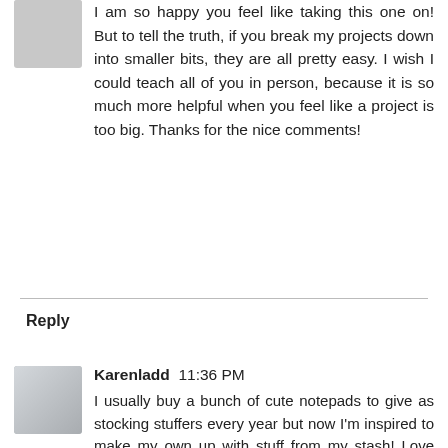I am so happy you feel like taking this one on! But to tell the truth, if you break my projects down into smaller bits, they are all pretty easy. I wish I could teach all of you in person, because it is so much more helpful when you feel like a project is too big. Thanks for the nice comments!
Reply
Karenladd  11:36 PM
I usually buy a bunch of cute notepads to give as stocking stuffers every year but now I'm inspired to make my own up with stuff from my stash! Love the gift card holder design too!
Reply
Tammy L  12:07 AM
Thanks for the great inspiration. I am always on the lookout for more fun and creative ways to use my scraps!